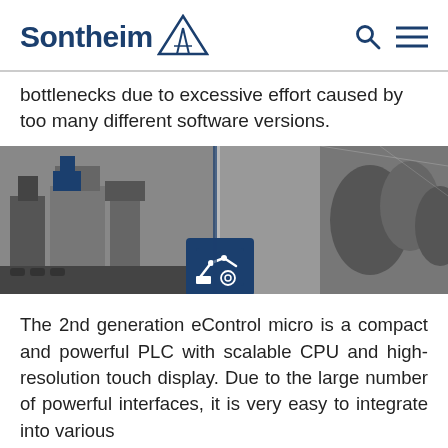Sontheim
bottlenecks due to excessive effort caused by too many different software versions.
[Figure (photo): Industrial factory floor with machinery and a robotic arm icon overlay in blue]
The 2nd generation eControl micro is a compact and powerful PLC with scalable CPU and high-resolution touch display. Due to the large number of powerful interfaces, it is very easy to integrate into various automation environments. In addition, the easy-to-use